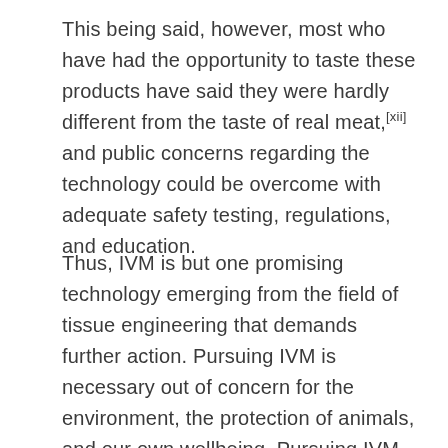This being said, however, most who have had the opportunity to taste these products have said they were hardly different from the taste of real meat,[xii] and public concerns regarding the technology could be overcome with adequate safety testing, regulations, and education.
Thus, IVM is but one promising technology emerging from the field of tissue engineering that demands further action. Pursuing IVM is necessary out of concern for the environment, the protection of animals, and our own wellbeing. Pursuing IVM will allow humans to continue their long-standing eating habits while catalyzing positive changes for the environment, sparing countless animals suffering and death, and potentially improving our own health.  If we as humans are not willing to give up meat consumption altogether,